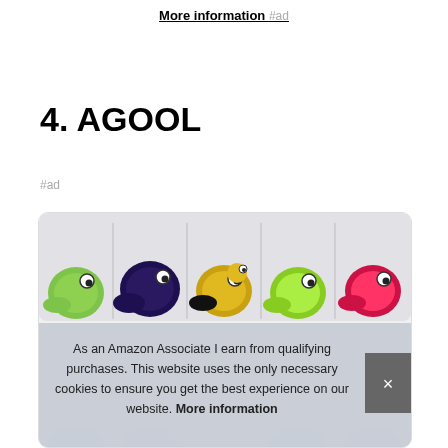More information #ad
4. AGOOL
#ad
[Figure (photo): Photo of colorful fishing lure jig heads in a plastic compartment box, showing green, purple, yellow, lime, and pink lures with googly eyes]
As an Amazon Associate I earn from qualifying purchases. This website uses the only necessary cookies to ensure you get the best experience on our website. More information